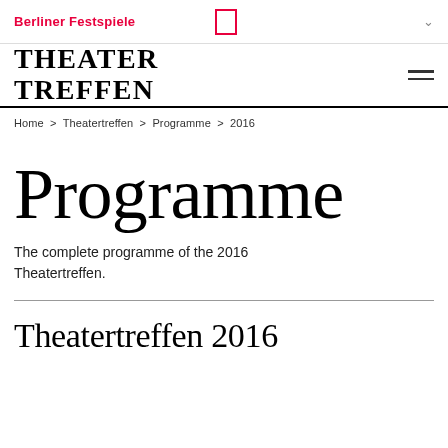Berliner Festspiele
THEATER TREFFEN
Home > Theatertreffen > Programme > 2016
Programme
The complete programme of the 2016 Theatertreffen.
Theatertreffen 2016